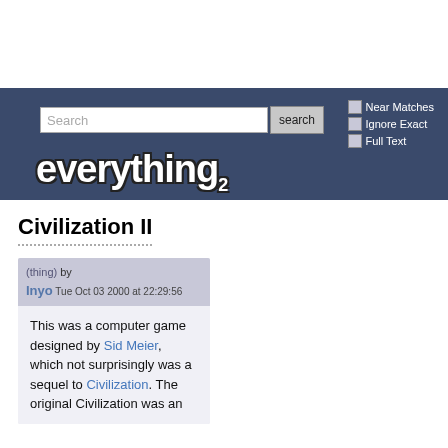[Figure (screenshot): Everything2 website header with search bar, checkboxes for Near Matches, Ignore Exact, Full Text, and the Everything2 logo in white bold text on dark blue background]
Civilization II
(thing) by Inyo  Tue Oct 03 2000 at 22:29:56
This was a computer game designed by Sid Meier, which not surprisingly was a sequel to Civilization. The original Civilization was an